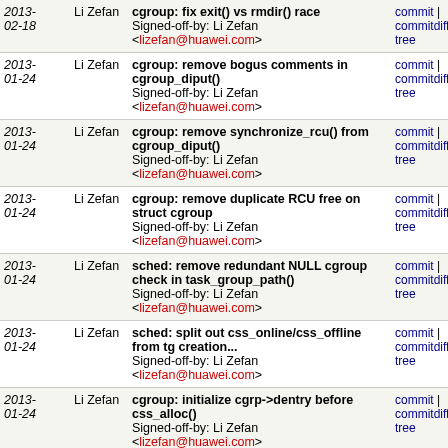| Date | Author | Commit message | Links |
| --- | --- | --- | --- |
| 2013-02-18 | Li Zefan | cgroup: fix exit() vs rmdir() race
Signed-off-by: Li Zefan <lizefan@huawei.com> | commit | commitdiff | tree |
| 2013-01-24 | Li Zefan | cgroup: remove bogus comments in cgroup_diput()
Signed-off-by: Li Zefan <lizefan@huawei.com> | commit | commitdiff | tree |
| 2013-01-24 | Li Zefan | cgroup: remove synchronize_rcu() from cgroup_diput()
Signed-off-by: Li Zefan <lizefan@huawei.com> | commit | commitdiff | tree |
| 2013-01-24 | Li Zefan | cgroup: remove duplicate RCU free on struct cgroup
Signed-off-by: Li Zefan <lizefan@huawei.com> | commit | commitdiff | tree |
| 2013-01-24 | Li Zefan | sched: remove redundant NULL cgroup check in task_group_path()
Signed-off-by: Li Zefan <lizefan@huawei.com> | commit | commitdiff | tree |
| 2013-01-24 | Li Zefan | sched: split out css_online/css_offline from tg creation...
Signed-off-by: Li Zefan <lizefan@huawei.com> | commit | commitdiff | tree |
| 2013-01-24 | Li Zefan | cgroup: initialize cgrp->dentry before css_alloc()
Signed-off-by: Li Zefan <lizefan@huawei.com> | commit | commitdiff | tree |
| 2013-01-24 | Li Zefan | cgroup: remove a NULL check in cgroup_exit() | commit | commitdiff | tree |